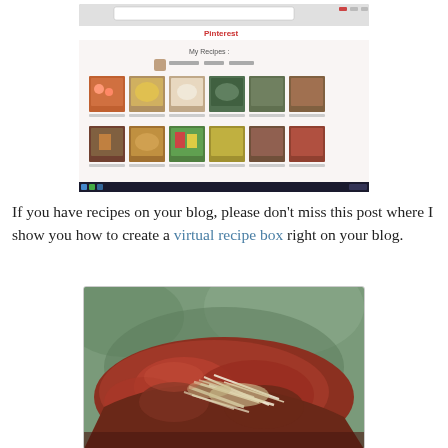[Figure (screenshot): Screenshot of Pinterest page showing 'My Recipes' board with food photos in a grid layout]
If you have recipes on your blog, please don't miss this post where I show you how to create a virtual recipe box right on your blog.
[Figure (photo): Close-up food photo of what appears to be a baked pasta or pizza dish with cheese on a green surface]